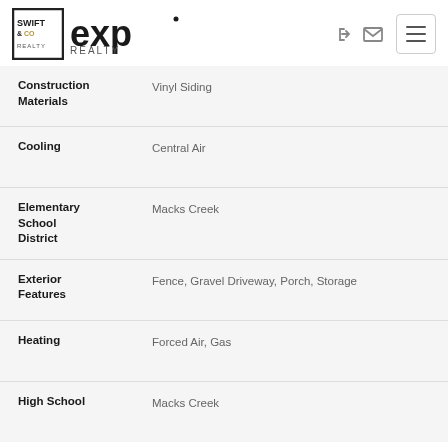[Figure (logo): Swift & Co Realty and eXp Realty logos in the header]
| Property Feature | Value |
| --- | --- |
| Construction Materials | Vinyl Siding |
| Cooling | Central Air |
| Elementary School District | Macks Creek |
| Exterior Features | Fence, Gravel Driveway, Porch, Storage |
| Heating | Forced Air, Gas |
| High School | Macks Creek |